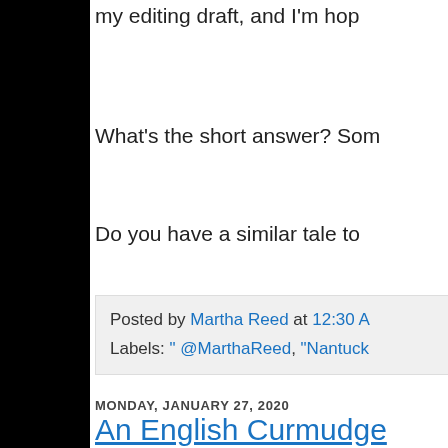my editing draft, and I'm hop
What’s the short answer? Som
Do you have a similar tale to
Posted by Martha Reed at 12:30 A
Labels: " @MarthaReed, "Nantuck
MONDAY, JANUARY 27, 2020
An English Curmudge
As both a writer and vora
language. I love its variet
often words and phrases